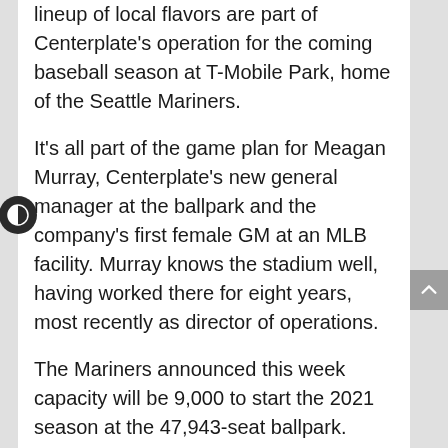lineup of local flavors are part of Centerplate's operation for the coming baseball season at T-Mobile Park, home of the Seattle Mariners.
It's all part of the game plan for Meagan Murray, Centerplate's new general manager at the ballpark and the company's first female GM at an MLB facility. Murray knows the stadium well, having worked there for eight years, most recently as director of operations.
The Mariners announced this week capacity will be 9,000 to start the 2021 season at the 47,943-seat ballpark.
Centerplate will be prepared with a new NCR point-of-sale system that was initially installed